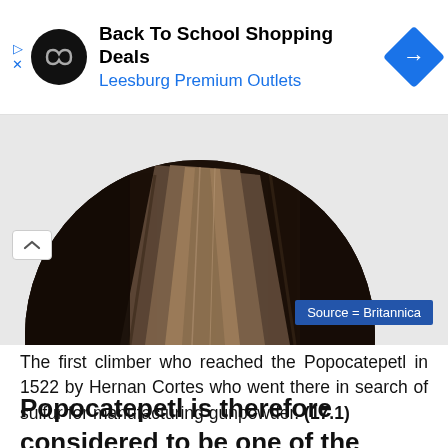[Figure (other): Advertisement banner for Back To School Shopping Deals at Leesburg Premium Outlets, with black circular logo, blue text links, and blue diamond arrow icon]
[Figure (photo): Close-up photo of volcanic rock surface of Popocatepetl, shown in a circular crop against light grey background with a blue Source = Britannica badge]
The first climber who reached the Popocatepetl in 1522 by Hernan Cortes who went there in search of sulfur for manufacturing gunpowder. (17.1)
Popocatepetl is therefore considered to be one of the historic place and a source of information for a scientist.